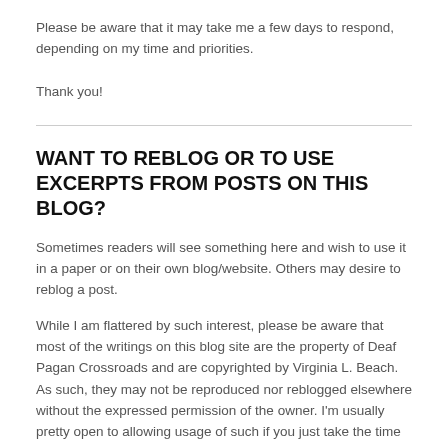Please be aware that it may take me a few days to respond, depending on my time and priorities.
Thank you!
WANT TO REBLOG OR TO USE EXCERPTS FROM POSTS ON THIS BLOG?
Sometimes readers will see something here and wish to use it in a paper or on their own blog/website. Others may desire to reblog a post.
While I am flattered by such interest, please be aware that most of the writings on this blog site are the property of Deaf Pagan Crossroads and are copyrighted by Virginia L. Beach. As such, they may not be reproduced nor reblogged elsewhere without the expressed permission of the owner. I'm usually pretty open to allowing usage of such if you just take the time to ask.
Permission may be granted by contacting Ocean at